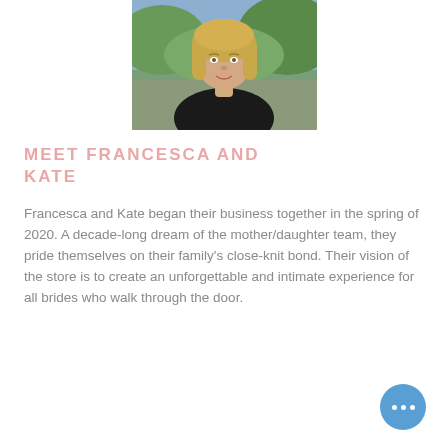[Figure (photo): Portrait photo of a blonde woman wearing a black top, photographed outdoors with a blurred background]
MEET FRANCESCA AND KATE
Francesca and Kate began their business together in the spring of 2020. A decade-long dream of the mother/daughter team, they pride themselves on their family's close-knit bond. Their vision of the store is to create an unforgettable and intimate experience for all brides who walk through the door.